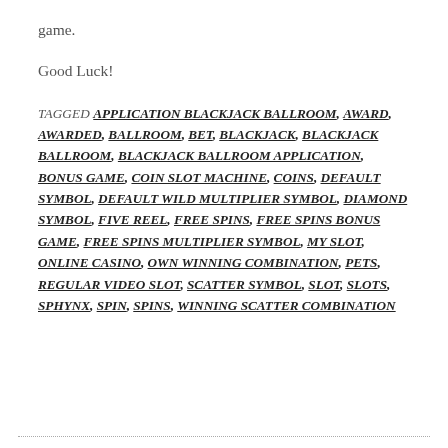game.
Good Luck!
TAGGED APPLICATION BLACKJACK BALLROOM, AWARD, AWARDED, BALLROOM, BET, BLACKJACK, BLACKJACK BALLROOM, BLACKJACK BALLROOM APPLICATION, BONUS GAME, COIN SLOT MACHINE, COINS, DEFAULT SYMBOL, DEFAULT WILD MULTIPLIER SYMBOL, DIAMOND SYMBOL, FIVE REEL, FREE SPINS, FREE SPINS BONUS GAME, FREE SPINS MULTIPLIER SYMBOL, MY SLOT, ONLINE CASINO, OWN WINNING COMBINATION, PETS, REGULAR VIDEO SLOT, SCATTER SYMBOL, SLOT, SLOTS, SPHYNX, SPIN, SPINS, WINNING SCATTER COMBINATION